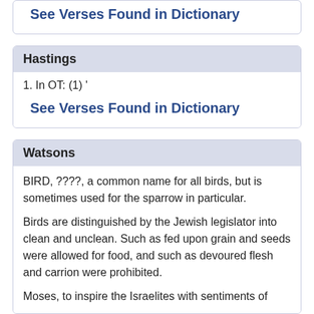See Verses Found in Dictionary
Hastings
1. In OT: (1) '
See Verses Found in Dictionary
Watsons
BIRD, ????, a common name for all birds, but is sometimes used for the sparrow in particular.
Birds are distinguished by the Jewish legislator into clean and unclean. Such as fed upon grain and seeds were allowed for food, and such as devoured flesh and carrion were prohibited.
Moses, to inspire the Israelites with sentiments of